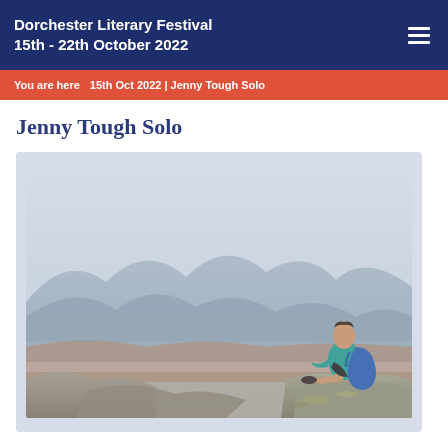Dorchester Literary Festival
15th - 22th October 2022
You are here   15th Oct 2022 | Jenny Tough Solo
Jenny Tough Solo
[Figure (photo): A woman with a teal/turquoise long-sleeve shirt and a blue backpack sitting on rocky mountain summit, looking out over a misty mountain landscape with valleys and distant ranges.]